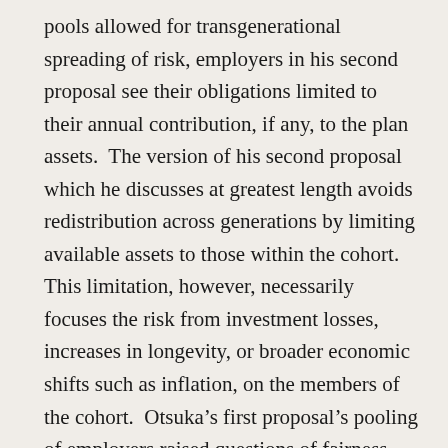pools allowed for transgenerational spreading of risk, employers in his second proposal see their obligations limited to their annual contribution, if any, to the plan assets.  The version of his second proposal which he discusses at greatest length avoids redistribution across generations by limiting available assets to those within the cohort.  This limitation, however, necessarily focuses the risk from investment losses, increases in longevity, or broader economic shifts such as inflation, on the members of the cohort.  Otsuka's first proposal's pooling of employers raised questions of fairness within the pool.  The issue of fairness of sharing risks within the pool remains but in the second proposal it is focused on arguably more vulnerable actors, employees.  Otsuka addresses this potential unfairness with the argument that a natural, almost Rawlsian “veil of